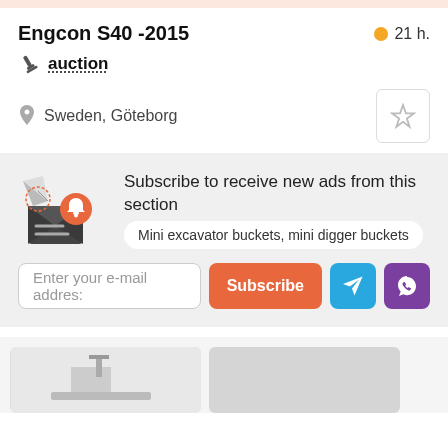Engcon S40 -2015
21 h.
auction
Sweden, Göteborg
Subscribe to receive new ads from this section
Mini excavator buckets, mini digger buckets
Enter your e-mail address
Subscribe